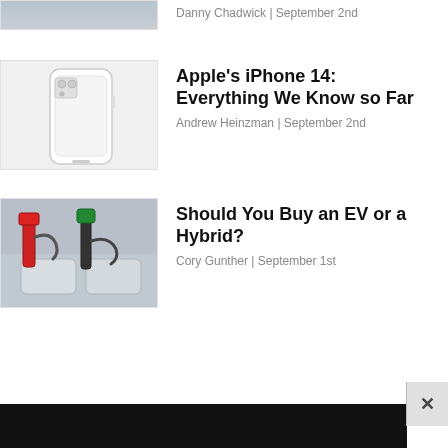Danny Chadwick | September 2nd
Apple’s iPhone 14: Everything We Know so Far
Andrew Heinzman | September 2nd
Should You Buy an EV or a Hybrid?
Cory Gunther | September 1st